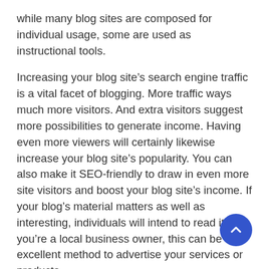while many blog sites are composed for individual usage, some are used as instructional tools.
Increasing your blog site’s search engine traffic is a vital facet of blogging. More traffic ways much more visitors. And extra visitors suggest more possibilities to generate income. Having even more viewers will certainly likewise increase your blog site’s popularity. You can also make it SEO-friendly to draw in even more site visitors and boost your blog site’s income. If your blog’s material matters as well as interesting, individuals will intend to read it. If you’re a local business owner, this can be an excellent method to advertise your services or products.
Many individuals utilize blogging to promote their service or discover more about their target market. Blog sites permit you to get to people from different geographical regions, various jobs, as well as even uncommon hobbies. You can also connect with individuals that have really different interests than your own. Additionally, you can discover web content that was